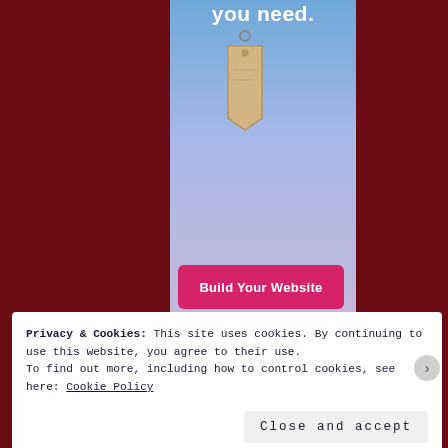[Figure (screenshot): Website builder advertisement screenshot showing a center panel with blue-to-lavender gradient background, a price tag illustration, white text 'you need.' at the top, and a pink 'Build Your Website' button. Dark maroon background flanks both sides.]
Privacy & Cookies: This site uses cookies. By continuing to use this website, you agree to their use.
To find out more, including how to control cookies, see here: Cookie Policy
Close and accept